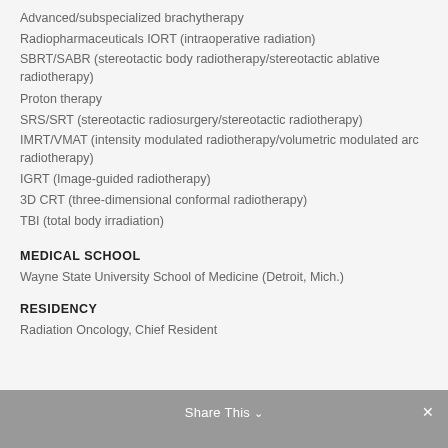Advanced/subspecialized brachytherapy
Radiopharmaceuticals IORT (intraoperative radiation)
SBRT/SABR (stereotactic body radiotherapy/stereotactic ablative radiotherapy)
Proton therapy
SRS/SRT (stereotactic radiosurgery/stereotactic radiotherapy)
IMRT/VMAT (intensity modulated radiotherapy/volumetric modulated arc radiotherapy)
IGRT (Image-guided radiotherapy)
3D CRT (three-dimensional conformal radiotherapy)
TBI (total body irradiation)
MEDICAL SCHOOL
Wayne State University School of Medicine (Detroit, Mich.)
RESIDENCY
Radiation Oncology, Chief Resident
Share This ∨  ✕